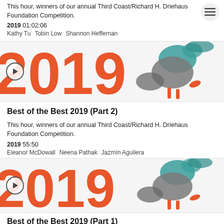This hour, winners of our annual Third Coast/Richard H. Driehaus Foundation Competition.
2019  01:02:06
Kathy Tu   Tobin Low   Shannon Heffernan
[Figure (illustration): Thumbnail image showing '2019' in large orange letters with a bird illustration, and a circular play button overlay on the left.]
Best of the Best 2019 (Part 2)
This hour, winners of our annual Third Coast/Richard H. Driehaus Foundation Competition.
2019  55:50
Eleanor McDowall   Neena Pathak   Jazmín Aguilera
[Figure (illustration): Thumbnail image showing '2019' in large orange letters with a bird illustration, and a circular play button overlay on the left.]
Best of the Best 2019 (Part 1)